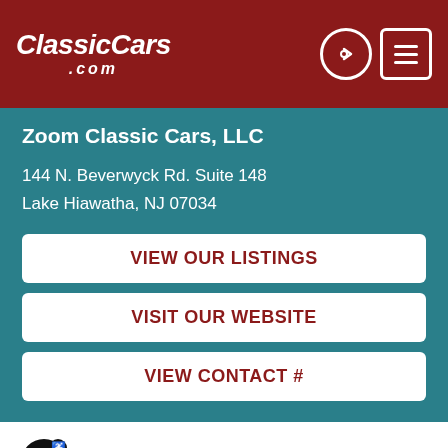ClassicCars.com
Zoom Classic Cars, LLC
144 N. Beverwyck Rd. Suite 148
Lake Hiawatha, NJ 07034
VIEW OUR LISTINGS
VISIT OUR WEBSITE
VIEW CONTACT #
Contact Seller
First Name